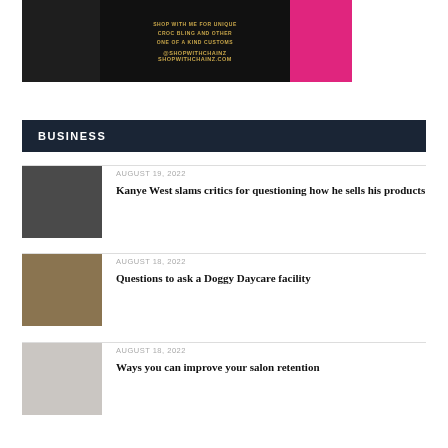[Figure (photo): Advertisement banner for ShopWithChainz showing decorated croc sandals on the left and a pink LA cap on the right with text: SHOP WITH ME FOR UNIQUE CROC BLING AND OTHER ONE OF A KIND CUSTOMS @SHOPWITHCHAINZ SHOPWITHCHAINZ.COM]
BUSINESS
AUGUST 19, 2022
Kanye West slams critics for questioning how he sells his products
AUGUST 18, 2022
Questions to ask a Doggy Daycare facility
AUGUST 18, 2022
Ways you can improve your salon retention